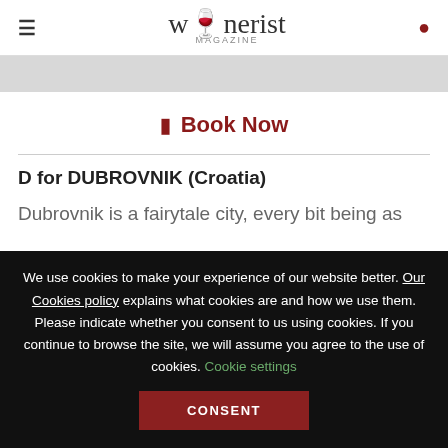winerist Magazine
[Figure (other): Gray banner/image area below the header]
Book Now
D for DUBROVNIK (Croatia)
Dubrovnik is a fairytale city, every bit being as
We use cookies to make your experience of our website better. Our Cookies policy explains what cookies are and how we use them. Please indicate whether you consent to us using cookies. If you continue to browse the site, we will assume you agree to the use of cookies. Cookie settings CONSENT